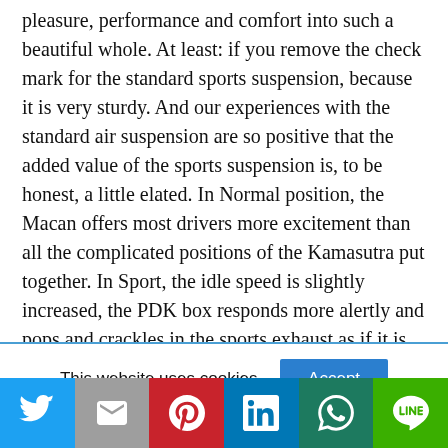pleasure, performance and comfort into such a beautiful whole. At least: if you remove the check mark for the standard sports suspension, because it is very sturdy. And our experiences with the standard air suspension are so positive that the added value of the sports suspension is, to be honest, a little elated. In Normal position, the Macan offers most drivers more excitement than all the complicated positions of the Kamasutra put together. In Sport, the idle speed is slightly increased, the PDK box responds more alertly and pops and crackles in the sports exhaust as if it is
This website uses cookies.
[Figure (other): Social sharing buttons: Twitter (blue), Email (grey), Pinterest (red), LinkedIn (blue), WhatsApp (teal/green), LINE (green)]